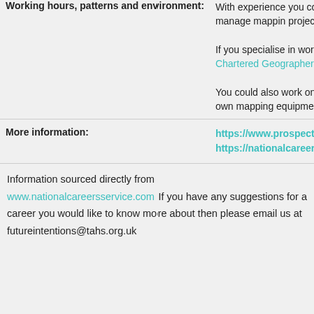| Label | Content |
| --- | --- |
| Working hours, patterns and environment: | With experience you could become a senior cartographer and manage mappin projects and staff.

If you specialise in working with GIS, you could apply for Chartered Geographer (GIS) status.

You could also work on a freelance basis, but you'll need your own mapping equipment. |
| More information: | https://www.prospects.ac.uk/job-profiles/cartographer
https://nationalcareers.service.gov.uk/profiles/cartographer |
Information sourced directly from www.nationalcareersservice.com If you have any suggestions for a career you would like to know more about then please email us at futureintentions@tahs.org.uk